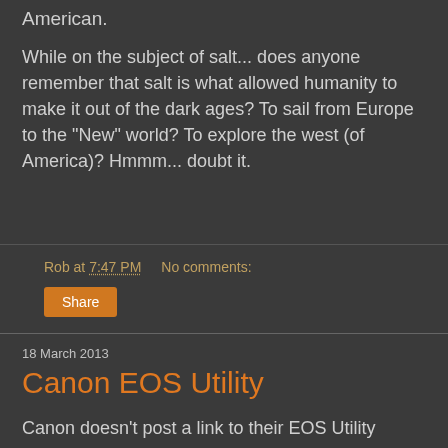American.
While on the subject of salt... does anyone remember that salt is what allowed humanity to make it out of the dark ages? To sail from Europe to the "New" world? To explore the west (of America)? Hmmm... doubt it.
Rob at 7:47 PM   No comments:
Share
18 March 2013
Canon EOS Utility
Canon doesn't post a link to their EOS Utility application. This can be rather burdensome if you happened to have lost your dvd that came with the camera. The utility is a pain